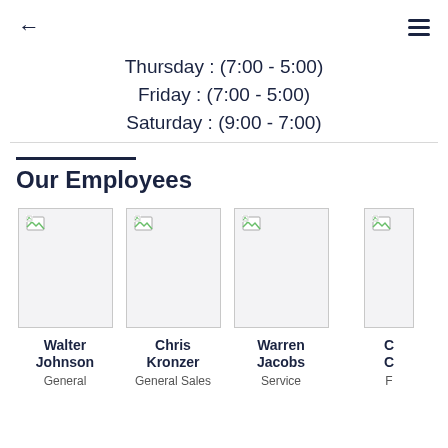← ≡
Thursday : (7:00 - 5:00)
Friday : (7:00 - 5:00)
Saturday : (9:00 - 7:00)
Our Employees
[Figure (photo): Employee photo placeholder - Walter Johnson]
Walter Johnson
General
[Figure (photo): Employee photo placeholder - Chris Kronzer]
Chris Kronzer
General Sales
[Figure (photo): Employee photo placeholder - Warren Jacobs]
Warren Jacobs
Service
[Figure (photo): Employee photo placeholder - partial (cropped)]
C C
F